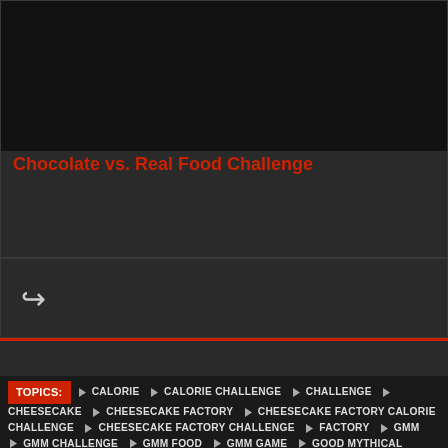[Figure (screenshot): Dark video thumbnail area]
Chocolate vs. Real Food Challenge
Share icon (reply/forward arrow)
TOPICS:
CALORIE  CALORIE CHALLENGE  CHALLENGE  CHEESECAKE  CHEESECAKE FACTORY  CHEESECAKE FACTORY CALORIE CHALLENGE  CHEESECAKE FACTORY CHALLENGE  FACTORY  GMM  GMM CHALLENGE  GMM FOOD  GMM GAME  GOOD MYTHICAL MORNING  GOOD MYTHICAL MORNING CHALLENGE  GOOD MYTHICAL MORNING CHEESECAKE FACTORY  GOOD MYTHICAL MORNING FOOD  GOOD MYTHICAL MORNING GAME  LINK  MYTHICAL  MYTHICAL MORNING  RHETT AND LINK  RHETTANDLINK  SEASON 15